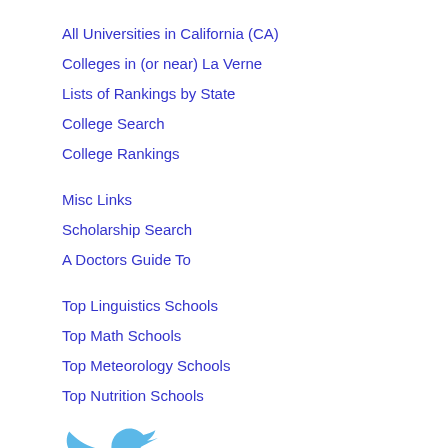All Universities in California (CA)
Colleges in (or near) La Verne
Lists of Rankings by State
College Search
College Rankings
Misc Links
Scholarship Search
A Doctors Guide To
Top Linguistics Schools
Top Math Schools
Top Meteorology Schools
Top Nutrition Schools
Top Pharmacy Schools
[Figure (logo): Twitter bird logo in blue]
Send Comments or Suggestions
sradmin@studentsreview.com